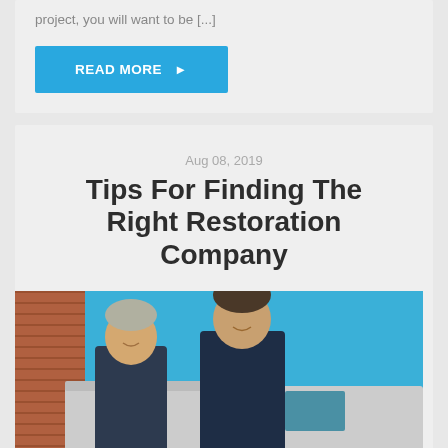project, you will want to be [...]
READ MORE ▶
Aug 08, 2019
Tips For Finding The Right Restoration Company
[Figure (photo): Two men in dark navy shirts smiling, standing in front of a white van with a blue wall/garage door in the background and brick wall on the left.]